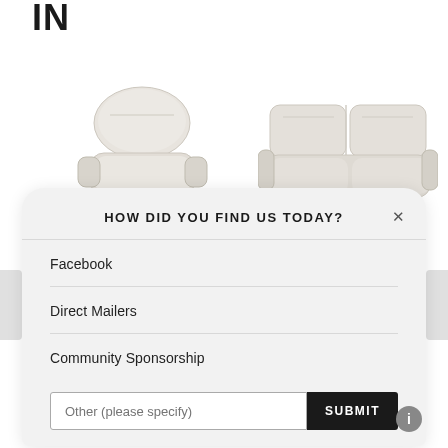IN
[Figure (photo): A light gray leather recliner chair photographed against a white background]
[Figure (photo): A light gray leather loveseat/sofa photographed against a white background]
HOW DID YOU FIND US TODAY?
Facebook
Direct Mailers
Community Sponsorship